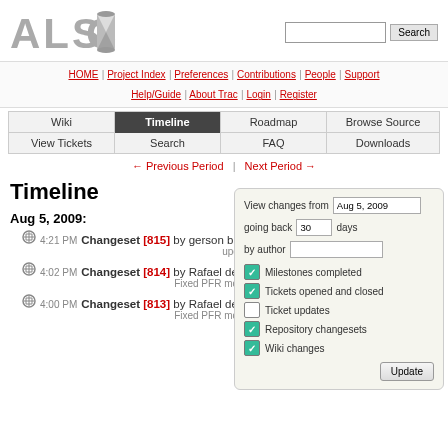[Figure (logo): ALSOC logo with stylized text]
HOME | Project Index | Preferences | Contributions | People | Support | Help/Guide | About Trac | Login | Register
Wiki | Timeline | Roadmap | Browse Source | View Tickets | Search | FAQ | Downloads
← Previous Period | Next Period →
Timeline
Aug 5, 2009:
4:21 PM Changeset [815] by gerson bicca
updates
4:02 PM Changeset [814] by Rafael de Pelegrini Soares
Fixed PFR model and sample
4:00 PM Changeset [813] by Rafael de Pelegrini Soares
Fixed PFR model and sample